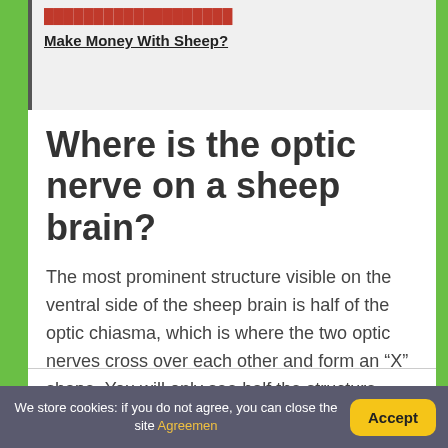[Figure (other): Advertisement box with red link text and bold underlined link 'Make Money With Sheep?']
Where is the optic nerve on a sheep brain?
The most prominent structure visible on the ventral side of the sheep brain is half of the optic chiasma, which is where the two optic nerves cross over each other and form an “X” shape. You will only see half the structure. Find the optic chiasma half on your brain.
We store cookies: if you do not agree, you can close the site Agreemen